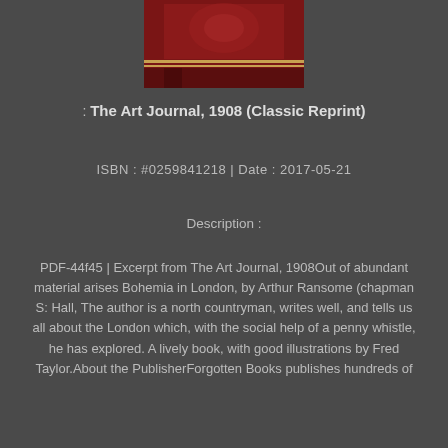[Figure (photo): Book cover thumbnail showing a dark red/maroon cover with decorative design and horizontal lines]
: The Art Journal, 1908 (Classic Reprint)
ISBN : #0259841218 | Date : 2017-05-21
Description :
PDF-44f45 | Excerpt from The Art Journal, 1908Out of abundant material arises Bohemia in London, by Arthur Ransome (chapman S: Hall, The author is a north countryman, writes well, and tells us all about the London which, with the social help of a penny whistle, he has explored. A lively book, with good illustrations by Fred Taylor.About the PublisherForgotten Books publishes hundreds of